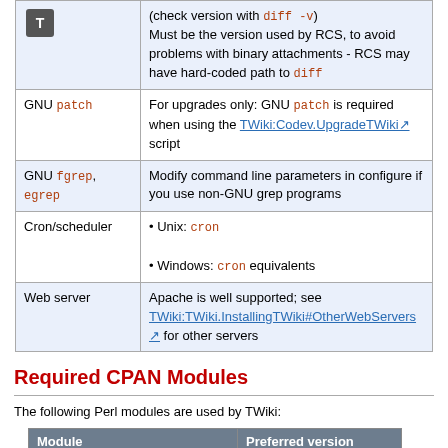|  |  |
| --- | --- |
| [T icon] | (check version with diff -v)
Must be the version used by RCS, to avoid problems with binary attachments - RCS may have hard-coded path to diff |
| GNU patch | For upgrades only: GNU patch is required when using the TWiki:Codev.UpgradeTWiki script |
| GNU fgrep, egrep | Modify command line parameters in configure if you use non-GNU grep programs |
| Cron/scheduler | • Unix: cron
• Windows: cron equivalents |
| Web server | Apache is well supported; see TWiki:TWiki.InstallingTWiki#OtherWebServers for other servers |
Required CPAN Modules
The following Perl modules are used by TWiki:
| Module | Preferred version |
| --- | --- |
| Algorithm::Diff (included) |  |